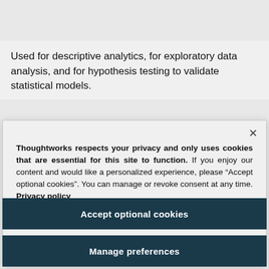Decoder
Used for descriptive analytics, for exploratory data analysis, and for hypothesis testing to validate statistical models.
Thoughtworks respects your privacy and only uses cookies that are essential for this site to function. If you enjoy our content and would like a personalized experience, please “Accept optional cookies”. You can manage or revoke consent at any time. Privacy policy
Accept optional cookies
Manage preferences